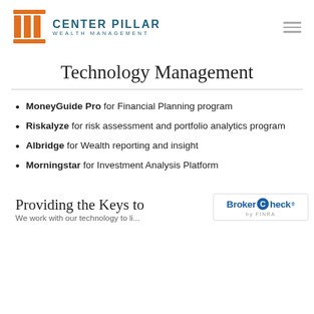[Figure (logo): Center Pillar Wealth Management logo with orange pillar icon and teal text]
Technology Management
MoneyGuide Pro for Financial Planning program
Riskalyze for risk assessment and portfolio analytics program
Albridge for Wealth reporting and insight
Morningstar for Investment Analysis Platform
Providing the Keys to
We work with our technology to li...
[Figure (logo): BrokerCheck by FINRA badge]